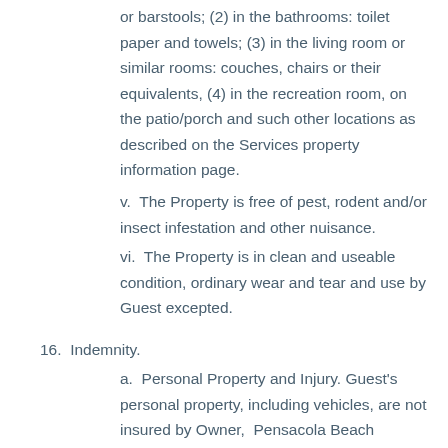or barstools; (2) in the bathrooms: toilet paper and towels; (3) in the living room or similar rooms: couches, chairs or their equivalents, (4) in the recreation room, on the patio/porch and such other locations as described on the Services property information page.
v.  The Property is free of pest, rodent and/or insect infestation and other nuisance.
vi.  The Property is in clean and useable condition, ordinary wear and tear and use by Guest excepted.
16.  Indemnity.
a.  Personal Property and Injury. Guest's personal property, including vehicles, are not insured by Owner,  Pensacola Beach Getaways or any homeowners association against loss or damage due to fire, theft, vandalism, rain, water, criminal or negligent acts of others, or any other cause. Owner and  Pensacola Beach Getaways do not insure